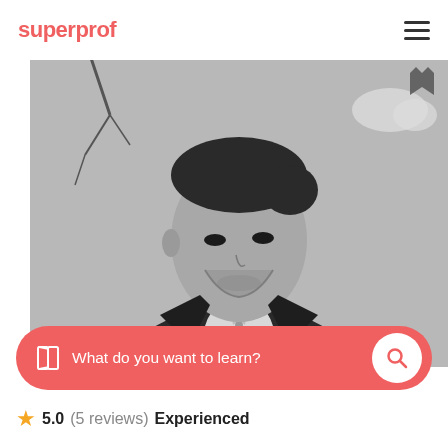superprof
[Figure (photo): Black and white portrait photo of a young man in a suit and tie, looking upward, outdoors with bare tree branches and cloudy sky in the background. A heart/bookmark icon is visible in the top right corner of the photo.]
What do you want to learn?
5.0 (5 reviews) Experienced